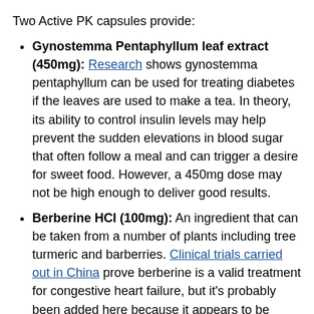Two Active PK capsules provide:
Gynostemma Pentaphyllum leaf extract (450mg): Research shows gynostemma pentaphyllum can be used for treating diabetes if the leaves are used to make a tea. In theory, its ability to control insulin levels may help prevent the sudden elevations in blood sugar that often follow a meal and can trigger a desire for sweet food. However, a 450mg dose may not be high enough to deliver good results.
Berberine HCl (100mg): An ingredient that can be taken from a number of plants including tree turmeric and barberries. Clinical trials carried out in China prove berberine is a valid treatment for congestive heart failure, but it's probably been added here because it appears to be capable of helping prevent sudden changes in blood sugar levels.
Quercetin dihydrate (100mg): A polyphenol that can be obtained from certain vegetables, fruits, and grains. It's not usually credited with weight loss enhancing abilities